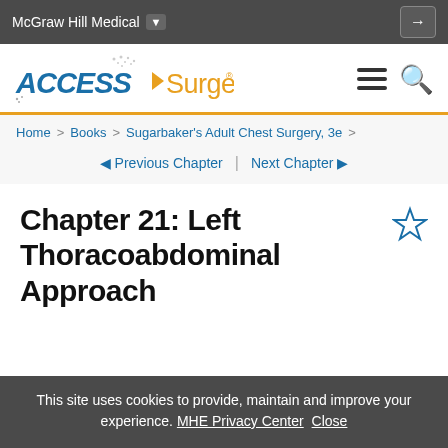McGraw Hill Medical
[Figure (logo): ACCESS Surgery logo with orange arrow and text]
Home > Books > Sugarbaker's Adult Chest Surgery, 3e >
◄ Previous Chapter | Next Chapter ►
Chapter 21: Left Thoracoabdominal Approach
This site uses cookies to provide, maintain and improve your experience. MHE Privacy Center Close